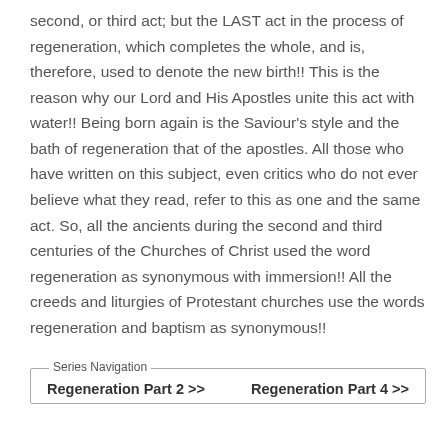second, or third act; but the LAST act in the process of regeneration, which completes the whole, and is, therefore, used to denote the new birth!! This is the reason why our Lord and His Apostles unite this act with water!! Being born again is the Saviour's style and the bath of regeneration that of the apostles. All those who have written on this subject, even critics who do not ever believe what they read, refer to this as one and the same act. So, all the ancients during the second and third centuries of the Churches of Christ used the word regeneration as synonymous with immersion!! All the creeds and liturgies of Protestant churches use the words regeneration and baptism as synonymous!!
Series Navigation
Regeneration Part 2 >>     Regeneration Part 4 >>